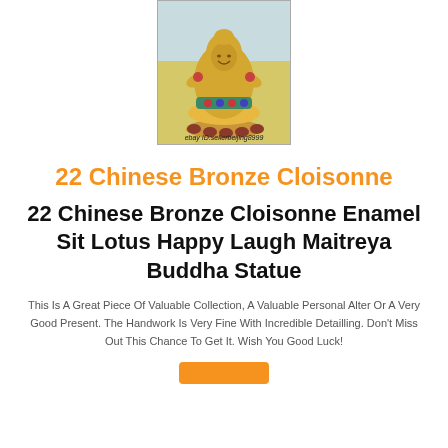[Figure (photo): Gold-colored Chinese Bronze Cloisonne enamel Buddha statue sitting on lotus base, with colorful enamel decorations. Watermark reads: ebay ID:sellerbeijing8999]
22 Chinese Bronze Cloisonne
22 Chinese Bronze Cloisonne Enamel Sit Lotus Happy Laugh Maitreya Buddha Statue
This Is A Great Piece Of Valuable Collection, A Valuable Personal Alter Or A Very Good Present. The Handwork Is Very Fine With Incredible Detailling. Don't Miss Out This Chance To Get It. Wish You Good Luck!